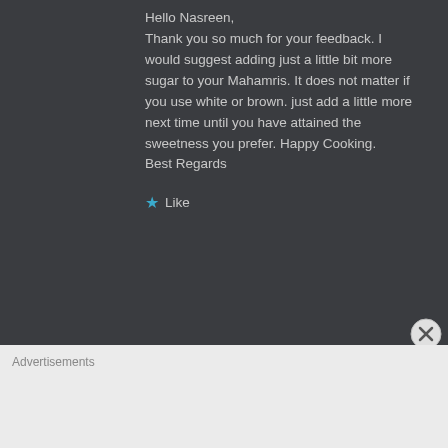Hello Nasreen,
Thank you so much for your feedback. I would suggest adding just a little bit more sugar to your Mahamris. It does not matter if you use white or brown. just add a little more next time until you have attained the sweetness you prefer. Happy Cooking.
Best Regards
Like
Advertisements